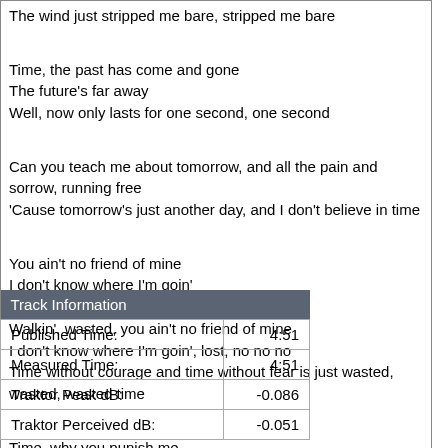Time, you left me standing there, like a tree growin' all alone
The wind just stripped me bare, stripped me bare

Time, the past has come and gone
The future's far away
Well, now only lasts for one second, one second

Can you teach me about tomorrow, and all the pain and sorrow, running free
'Cause tomorrow's just another day, and I don't believe in time

You ain't no friend of mine
I don't know where I'm goin'
I think I'm out of my mind
Walkin', wasted, you ain't no friend of mine
I don't know where I'm goin', lost, no no no
Time without courage and time without fear is just wasted, wasted, wasted time

Time, why you punish me
| Track Information |  |
| --- | --- |
| Published Time: | 4:51 |
| Measured Time: | 4:51 |
| Traktor Peak dB: | -0.086 |
| Traktor Perceived dB: | -0.051 |